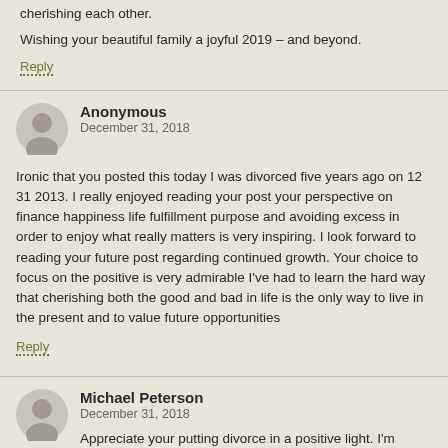cherishing each other.
Wishing your beautiful family a joyful 2019 – and beyond.
Reply
Anonymous
December 31, 2018
Ironic that you posted this today I was divorced five years ago on 12 31 2013. I really enjoyed reading your post your perspective on finance happiness life fulfillment purpose and avoiding excess in order to enjoy what really matters is very inspiring. I look forward to reading your future post regarding continued growth. Your choice to focus on the positive is very admirable I've had to learn the hard way that cherishing both the good and bad in life is the only way to live in the present and to value future opportunities
Reply
Michael Peterson
December 31, 2018
Appreciate your putting divorce in a positive light. I'm